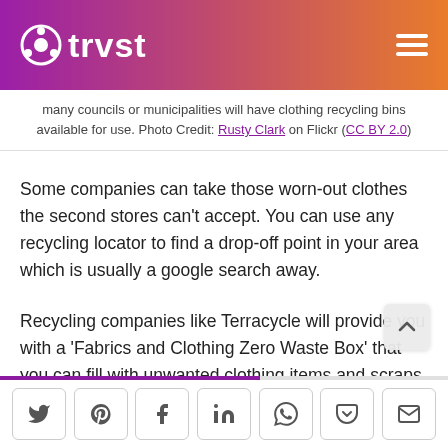trvst
many councils or municipalities will have clothing recycling bins available for use. Photo Credit: Rusty Clark on Flickr (CC BY 2.0)
Some companies can take those worn-out clothes the second stores can't accept. You can use any recycling locator to find a drop-off point in your area which is usually a google search away.
Recycling companies like Terracycle will provide you with a 'Fabrics and Clothing Zero Waste Box' that you can fill with unwanted clothing items and scraps of fabric. Once this box is filled up, you ship